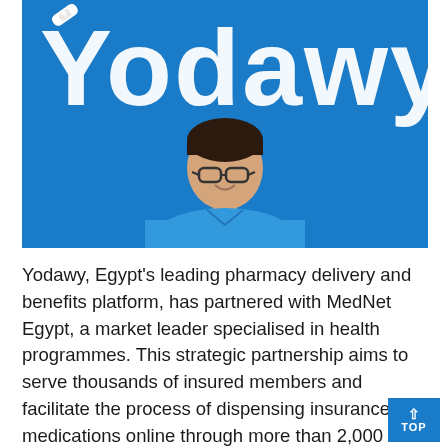[Figure (photo): Photo of a young man wearing glasses and a blue polo shirt, sitting in front of a bright blue wall with the white 3D 'Yodawy' logo (with a bandage icon on the Y). The Yodawy logo is prominently displayed on the blue background.]
Yodawy, Egypt's leading pharmacy delivery and benefits platform, has partnered with MedNet Egypt, a market leader specialised in health programmes. This strategic partnership aims to serve thousands of insured members and facilitate the process of dispensing insurance medications online through more than 2,000 licensed pharmacies across Egypt, all of which are a part of